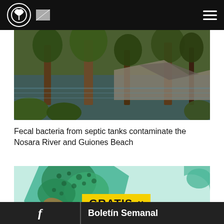Navigation header with logo and hamburger menu
[Figure (photo): Forest/river scene with trees and water, nature photo showing Nosara River area]
Fecal bacteria from septic tanks contaminate the Nosara River and Guiones Beach
[Figure (map): Illustrated/cartoon style map showing landscape with green areas, trees, brown terrain and water features]
GRATIS ×
f  Boletín Semanal